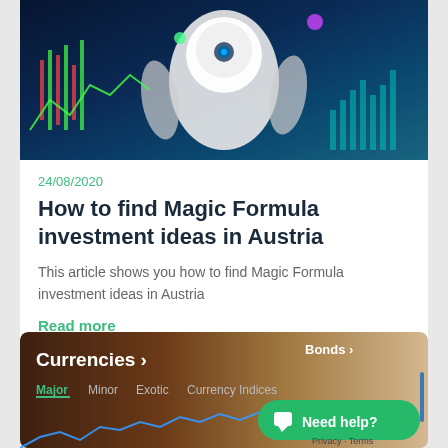[Figure (photo): AI robot with financial charts and data visualizations in background, blue-themed digital illustration]
24/08/2020
How to find Magic Formula investment ideas in Austria
This article shows you how to find Magic Formula investment ideas in Austria
Read more
[Figure (screenshot): Financial platform screenshot showing Currencies section with Major, Minor, Exotic, Currency Indices tabs. Blue line chart visible at bottom. 'Need help?' chat button overlay. Bonds link visible.]